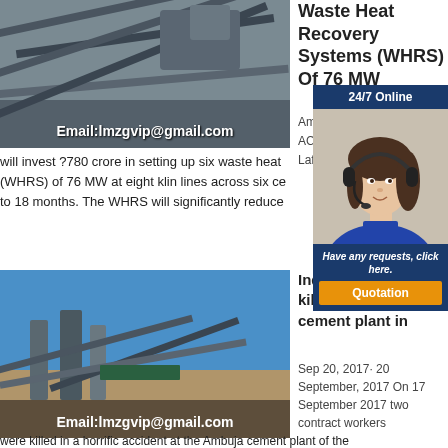[Figure (photo): Industrial cement plant with conveyor belts and machinery, email watermark at bottom]
Waste Heat Recovery Systems (WHRS) Of 76 MW
Amb... ACC... Lafa...
will invest ?780 crore in setting up six waste heat (WHRS) of 76 MW at eight klin lines across six ce to 18 months. The WHRS will significantly reduce
[Figure (photo): Industrial plant with conveyor belts against blue sky, email watermark at bottom]
Indi... kille... cement plant in
Sep 20, 2017· 20 September, 2017 On 17 September 2017 two contract workers
were killed in a horrific accident at the Ambuja cement plant of the
[Figure (other): 24/7 Online chat widget with female agent in headset, 'Have any requests, click here.' and Quotation button]